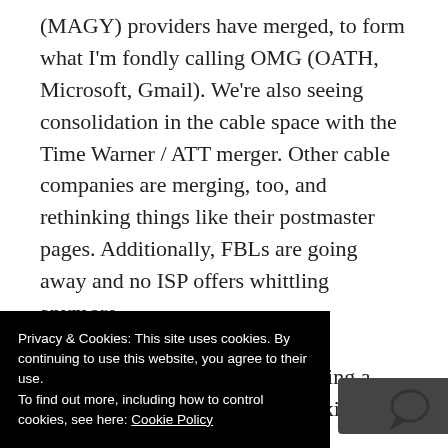(MAGY) providers have merged, to form what I'm fondly calling OMG (OATH, Microsoft, Gmail). We're also seeing consolidation in the cable space with the Time Warner / ATT merger. Other cable companies are merging, too, and rethinking things like their postmaster pages. Additionally, FBLs are going away and no ISP offers whittling anymore. Privacy changes. We're also seeing a global focus on privacy and tracking and user data. A ... e email ... coming ... en in the
Privacy & Cookies: This site uses cookies. By continuing to use this website, you agree to their use.
To find out more, including how to control cookies, see here: Cookie Policy
Close and accept